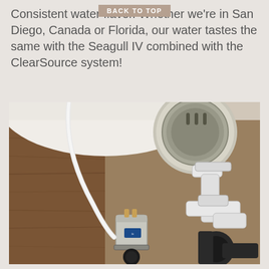Consistent water flavor. Whether we're in San Diego, Canada or Florida, our water tastes the same with the Seagull IV combined with the ClearSource system!
[Figure (photo): Under-sink view showing plumbing components including a Seagull IV water filter (small stainless steel cylindrical unit with blue logo) connected to white PVC pipes, a sink drain assembly visible from below, and a white flexible tube, all against a wood-panel cabinet background.]